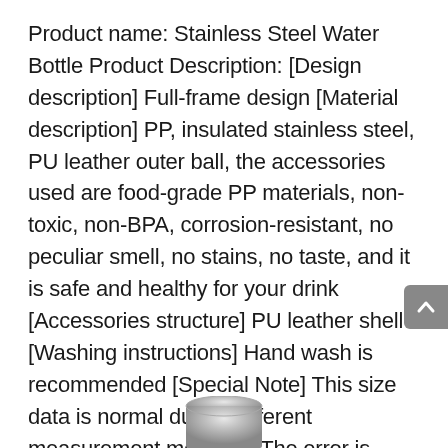Product name: Stainless Steel Water Bottle Product Description: [Design description] Full-frame design [Material description] PP, insulated stainless steel, PU leather outer ball, the accessories used are food-grade PP materials, non-toxic, non-BPA, corrosion-resistant, no peculiar smell, no stains, no taste, and it is safe and healthy for your drink [Accessories structure] PU leather shell [Washing instructions] Hand wash is recommended [Special Note] This size data is normal due to different measurement methods. The error is within 1cm. product size:Height (cm): 26Capacity (code): 500Diameter (cm): 6
[Figure (photo): Partial view of a stainless steel water bottle cap/top, silver metallic, visible at the bottom center of the page]